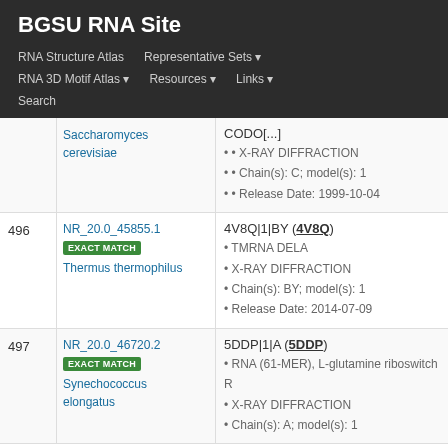BGSU RNA Site
RNA Structure Atlas | Representative Sets ▾ | RNA 3D Motif Atlas ▾ | Resources ▾ | Links ▾ | Search
| # | ID / Organism | Structure Info |
| --- | --- | --- |
|  | Saccharomyces cerevisiae | CODO[...]
• X-RAY DIFFRACTION
• Chain(s): C; model(s): 1
• Release Date: 1999-10-04 |
| 496 | NR_20.0_45855.1 EXACT MATCH Thermus thermophilus | 4V8Q|1|BY (4V8Q)
• TMRNA DELA
• X-RAY DIFFRACTION
• Chain(s): BY; model(s): 1
• Release Date: 2014-07-09 |
| 497 | NR_20.0_46720.2 EXACT MATCH Synechococcus elongatus | 5DDP|1|A (5DDP)
• RNA (61-MER), L-glutamine riboswitch R
• X-RAY DIFFRACTION
• Chain(s): A; model(s): 1 |